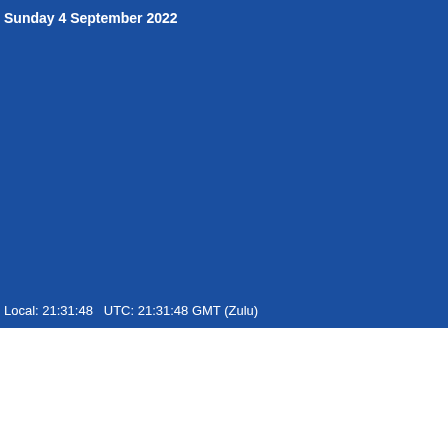[Figure (screenshot): Blue background webcam image of Shiloh Airport, appearing mostly solid blue with no visible aircraft or structures]
Sunday 4 September 2022
Local: 21:31:48   UTC: 21:31:48 GMT (Zulu)
HOME / AIRPORTS / SHILOH AIRPORT